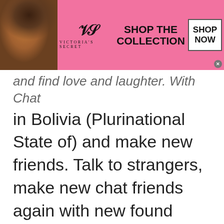[Figure (screenshot): Victoria's Secret advertisement banner with model, VS logo, 'SHOP THE COLLECTION' text, and 'SHOP NOW' button on pink background]
and find love and laughter. With Chat in Bolivia (Plurinational State of) and make new friends. Talk to strangers, make new chat friends again with new found energy. Feel better that we all are in the same boat and may have solutions to their problems. At
[Figure (screenshot): Dickies Official Site advertisement banner showing 'DE IN DICKIES' text, workwear image, title 'Dickies® | Official Site | Workwear & Apparel', description 'for work pants, work shirts, overalls, and coveralls.', URL 'www.dickies.com', and a circular navigation button]